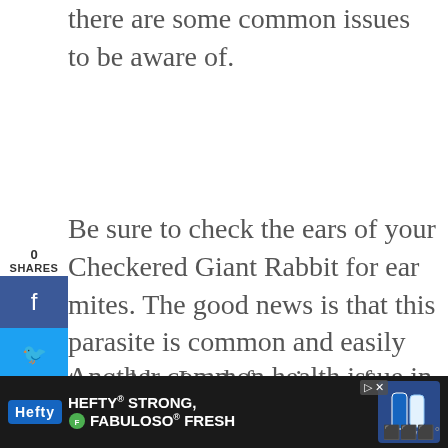there are some common issues to be aware of.
Be sure to check the ears of your Checkered Giant Rabbit for ear mites. The good news is that this parasite is common and easily treatable. Look for signs of your rabbit shaking their head a lot or pawing at their ears.
[Figure (infographic): Social media sharing sidebar with 0 SHARES label, Facebook (blue), Twitter (blue), and Pinterest (red) buttons]
[Figure (infographic): Heart/save button (teal circle), share count '3', and share icon button on right side]
Another common health issue in rabbits
[Figure (infographic): Advertisement banner at the bottom: Hefty logo, HEFTY STRONG, FABULOSO FRESH text with product images on dark background]